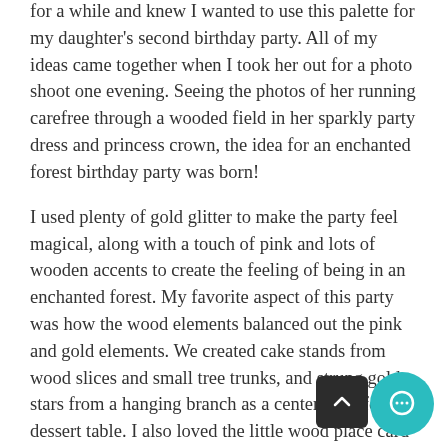for a while and knew I wanted to use this palette for my daughter's second birthday party. All of my ideas came together when I took her out for a photo shoot one evening. Seeing the photos of her running carefree through a wooded field in her sparkly party dress and princess crown, the idea for an enchanted forest birthday party was born!
I used plenty of gold glitter to make the party feel magical, along with a touch of pink and lots of wooden accents to create the feeling of being in an enchanted forest. My favorite aspect of this party was how the wood elements balanced out the pink and gold elements. We created cake stands from wood slices and small tree trunks, and strung gold stars from a hanging branch as a centerpiece for the dessert table. I also loved the little wood place card holders which we used to hold labels for all of the food.